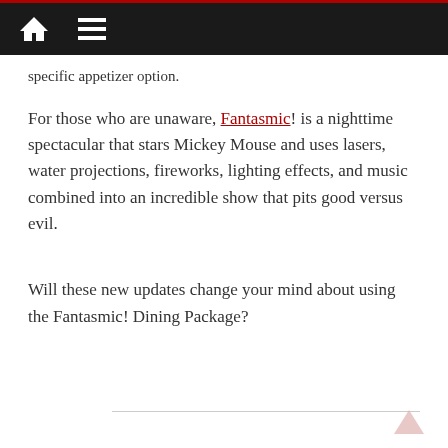Navigation bar with home icon and menu icon
specific appetizer option.
For those who are unaware, Fantasmic! is a nighttime spectacular that stars Mickey Mouse and uses lasers, water projections, fireworks, lighting effects, and music combined into an incredible show that pits good versus evil.
Will these new updates change your mind about using the Fantasmic! Dining Package?